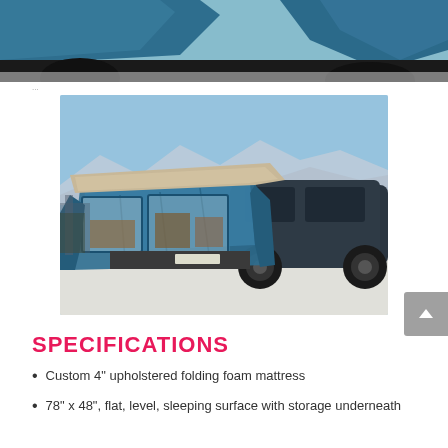[Figure (photo): Partial view of a vehicle with blue tarp/cover draped over it, seen from below/behind, against a bright sky background]
[Figure (photo): An SUV or truck in a snowy outdoor setting with a blue tent/tarp camping setup attached to the rear tailgate, with a tan/beige canopy on top and clear plastic window panels on the back opening]
SPECIFICATIONS
Custom 4" upholstered folding foam mattress
78" x 48", flat, level, sleeping surface with storage underneath